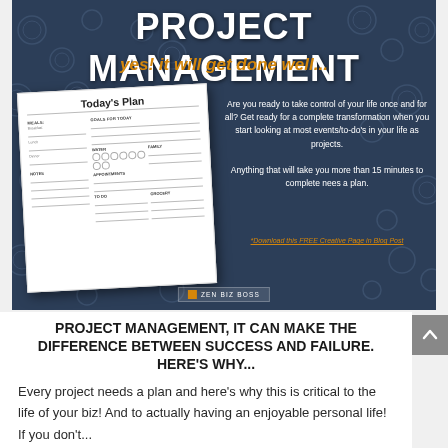PROJECT MANAGEMENT
yes! it will get done well...
[Figure (illustration): A daily planner page titled 'Today's Plan' with sections for Meals, Goals for Today, Water, Appointments, Family, Notes, To Do, and Grocery.]
Are you ready to take control of your life once and for all? Get ready for a complete transformation when you start looking at most events/to-do's in your life as projects. Anything that will take you more than 15 minutes to complete nees a plan.
*Download this FREE Creative Page in Blog Post
PROJECT MANAGEMENT, IT CAN MAKE THE DIFFERENCE BETWEEN SUCCESS AND FAILURE. HERE'S WHY...
Every project needs a plan and here's why this is critical to the life of your biz! And to actually having an enjoyable personal life! If you don't...
read more